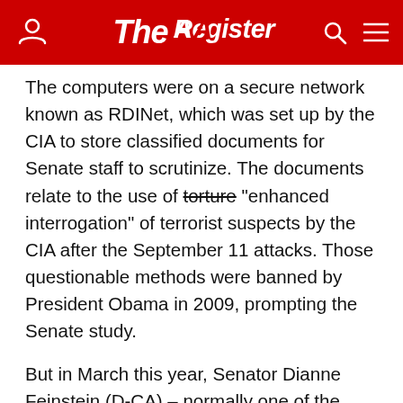The Register
The computers were on a secure network known as RDINet, which was set up by the CIA to store classified documents for Senate staff to scrutinize. The documents relate to the use of torture "enhanced interrogation" of terrorist suspects by the CIA after the September 11 attacks. Those questionable methods were banned by President Obama in 2009, prompting the Senate study.
But in March this year, Senator Dianne Feinstein (D-CA) – normally one of the intelligence community's biggest cheerleaders – took to the Senate floor to complain that the CIA had infiltrated RDINet computers that were supposed to be off-limits to the g-men.